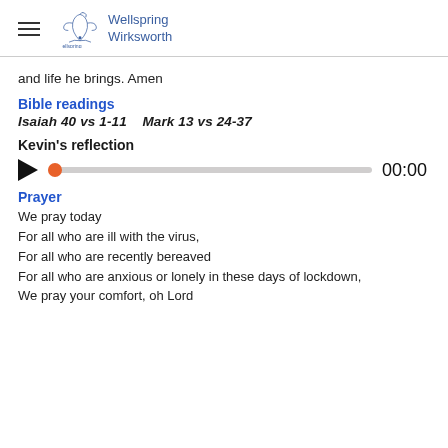Wellspring Wirksworth
and life he brings. Amen
Bible readings
Isaiah 40 vs 1-11    Mark 13 vs 24-37
Kevin's reflection
[Figure (other): Audio player with play button, scrubber track with orange dot at start, and time display showing 00:00]
Prayer
We pray today
For all who are ill with the virus,
For all who are recently bereaved
For all who are anxious or lonely in these days of lockdown,
We pray your comfort, oh Lord